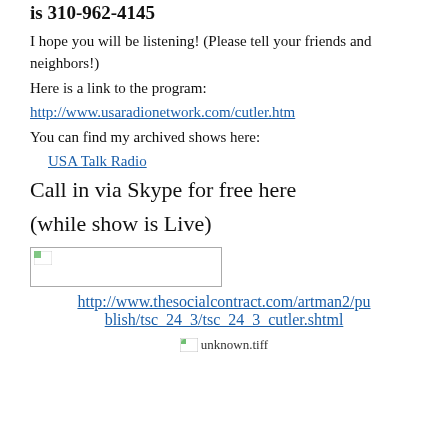is 310-962-4145
I hope you will be listening!  (Please tell your friends and neighbors!)
Here is a link to the program:
http://www.usaradionetwork.com/cutler.htm
You can find my archived shows here:
USA Talk Radio
Call in via Skype for free here
(while show is Live)
[Figure (other): Broken image placeholder (small icon with colored corner)]
http://www.thesocialcontract.com/artman2/publish/tsc_24_3/tsc_24_3_cutler.shtml
[Figure (other): Broken image placeholder labeled unknown.tiff]